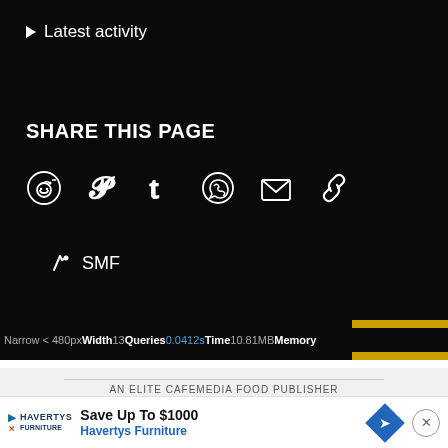▶ Latest activity
SHARE THIS PAGE
[Figure (infographic): Social share icons: Reddit, Pinterest, Tumblr, WhatsApp, Email, Link]
✏ SMF
Narrow < 480px Width 13 Queries 0.0412s Time 10.81MB Memory
AN ELITE CAFEMEDIA FOOD PUBLISHER
Save Up To $1000 | Havertys Furniture